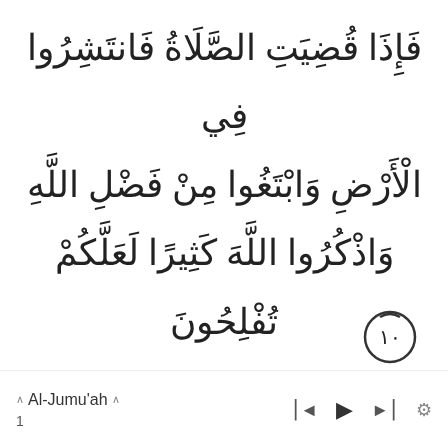فَإِذَا قُضِيَتِ الصَّلَاةُ فَانتَشِرُوا فِي الْأَرْضِ وَابْتَغُوا مِنْ فَضْلِ اللَّهِ وَاذْكُرُوا اللَّهَ كَثِيرًا لَعَلَّكُمْ تُفْلِحُونَ
[Figure (other): Verse number marker showing '١٠' (10) inside a circular border]
^ Al-Jumu'ah ^   |◀  ▶  ▶|  ⚙   1